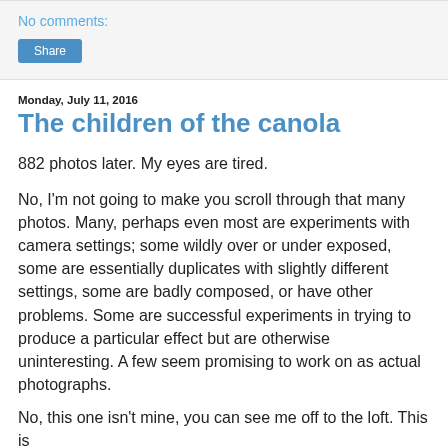No comments:
Share
Monday, July 11, 2016
The children of the canola
882 photos later. My eyes are tired.
No, I'm not going to make you scroll through that many photos. Many, perhaps even most are experiments with camera settings; some wildly over or under exposed, some are essentially duplicates with slightly different settings, some are badly composed, or have other problems. Some are successful experiments in trying to produce a particular effect but are otherwise uninteresting. A few seem promising to work on as actual photographs.
No, this one isn't mine, you can see me off to the loft. This is